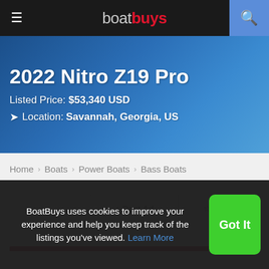boatbuys
2022 Nitro Z19 Pro
Listed Price: $53,340 USD
Location: Savannah, Georgia, US
Home › Boats › Power Boats › Bass Boats
+ Post Ad
☆ Save
BoatBuys uses cookies to improve your experience and help you keep track of the listings you've viewed. Learn More